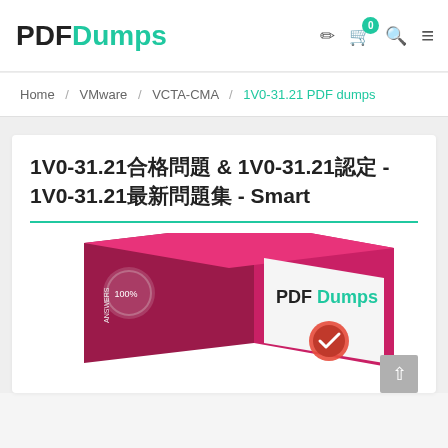PDFDumps
Home / VMware / VCTA-CMA / 1V0-31.21 PDF dumps
1V0-31.21合格問題 & 1V0-31.21認定 - 1V0-31.21最新問題集 - Smart
[Figure (illustration): PDFDumps product box illustration showing a red/pink box with the PDFDumps logo, a money-back guarantee badge, and exam study materials branding.]